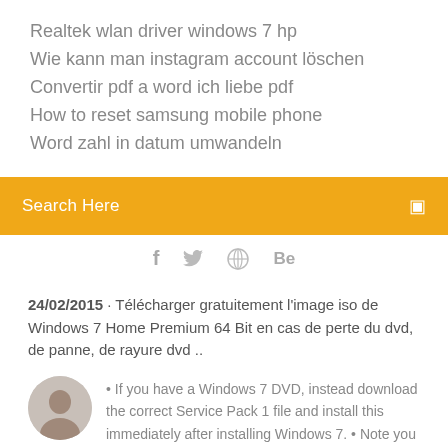Realtek wlan driver windows 7 hp
Wie kann man instagram account löschen
Convertir pdf a word ich liebe pdf
How to reset samsung mobile phone
Word zahl in datum umwandeln
[Figure (screenshot): Orange search bar with 'Search Here' placeholder text and a search icon on the right]
[Figure (infographic): Social media icons: Facebook (f), Twitter (bird), a globe/dribbble icon, and Behance (Be)]
24/02/2015 · Télécharger gratuitement l'image iso de Windows 7 Home Premium 64 Bit en cas de perte du dvd, de panne, de rayure dvd ..
• If you have a Windows 7 DVD, instead download the correct Service Pack 1 file and install this immediately after installing Windows 7. • Note you